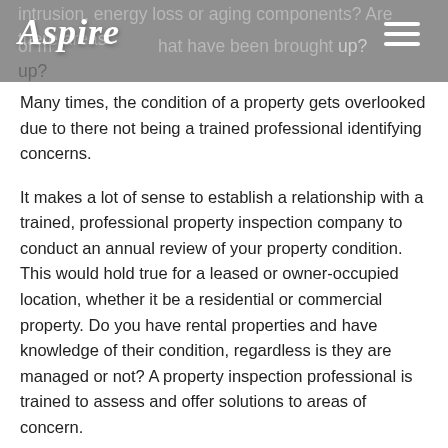Aspire [logo/navigation bar]
intrusion, energy loss or aging components? Are there areas of major concern that have been brought up?
Many times, the condition of a property gets overlooked due to there not being a trained professional identifying concerns.
It makes a lot of sense to establish a relationship with a trained, professional property inspection company to conduct an annual review of your property condition. This would hold true for a leased or owner-occupied location, whether it be a residential or commercial property. Do you have rental properties and have knowledge of their condition, regardless is they are managed or not? A property inspection professional is trained to assess and offer solutions to areas of concern.